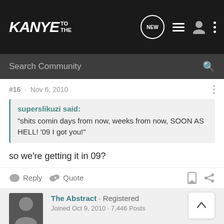KANYE TO THE — site header with navigation icons
Search Community
#16 · Nov 6, 2010
superslikuzi said: "shits comin days from now, weeks from now, SOON AS HELL! '09 I got you!"
so we're getting it in 09?
Reply   Quote
The Abstract · Registered
Joined Oct 9, 2010 · 7,446 Posts